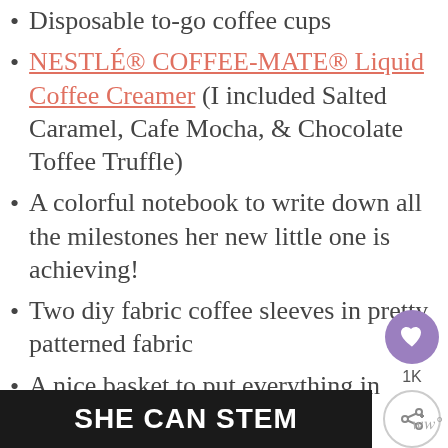Disposable to-go coffee cups
NESTLÉ® COFFEE-MATE® Liquid Coffee Creamer (I included Salted Caramel, Cafe Mocha, & Chocolate Toffee Truffle)
A colorful notebook to write down all the milestones her new little one is achieving!
Two diy fabric coffee sleeves in pretty patterned fabric
A nice basket to put everything in
Treat Yourself Mama! label
[Figure (logo): Black banner with white bold text reading SHE CAN STEM]
[Figure (infographic): Social share panel with heart button showing 1K likes and a share button]